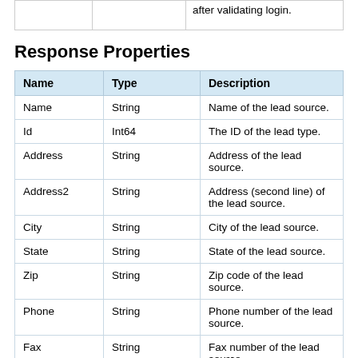|  |  | after validating login. |
Response Properties
| Name | Type | Description |
| --- | --- | --- |
| Name | String | Name of the lead source. |
| Id | Int64 | The ID of the lead type. |
| Address | String | Address of the lead source. |
| Address2 | String | Address (second line) of the lead source. |
| City | String | City of the lead source. |
| State | String | State of the lead source. |
| Zip | String | Zip code of the lead source. |
| Phone | String | Phone number of the lead source. |
| Fax | String | Fax number of the lead source. |